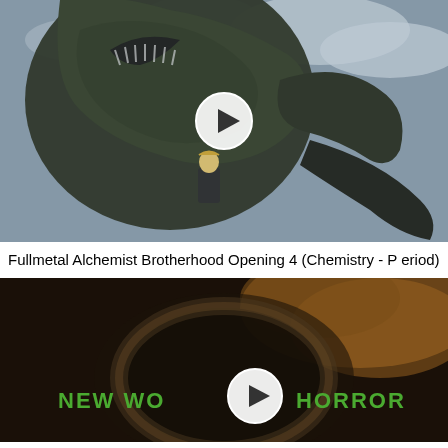[Figure (screenshot): Anime thumbnail showing a large dark monster creature looming over a small blonde character, with a play button overlay. Scene from Fullmetal Alchemist Brotherhood.]
Fullmetal Alchemist Brotherhood Opening 4 (Chemistry - Period)
[Figure (screenshot): Dark video thumbnail showing a blurred circular shape with green text reading 'NEW WORLD HORROR' and a play button overlay in the center.]